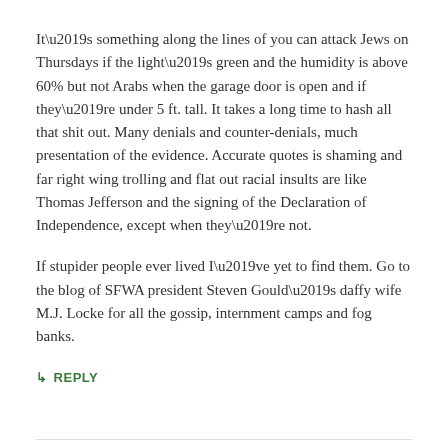It’s something along the lines of you can attack Jews on Thursdays if the light’s green and the humidity is above 60% but not Arabs when the garage door is open and if they’re under 5 ft. tall. It takes a long time to hash all that shit out. Many denials and counter-denials, much presentation of the evidence. Accurate quotes is shaming and far right wing trolling and flat out racial insults are like Thomas Jefferson and the signing of the Declaration of Independence, except when they’re not.
If stupider people ever lived I’ve yet to find them. Go to the blog of SFWA president Steven Gould’s daffy wife M.J. Locke for all the gossip, internment camps and fog banks.
↳ REPLY